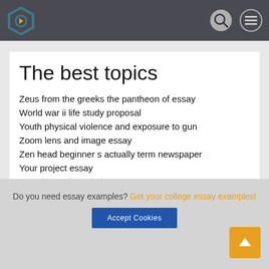Navigation header with logo, search and menu icons
The best topics
Zeus from the greeks the pantheon of essay
World war ii life study proposal
Youth physical violence and exposure to gun
Zoom lens and image essay
Zen head beginner s actually term newspaper
Your project essay
Zeus in greek mythology essay
Do you need essay examples? Get your college essay examples!
Accept Cookies